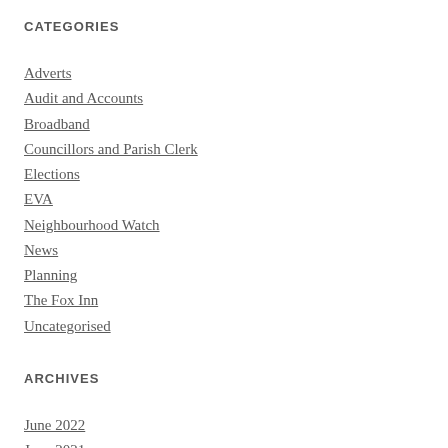CATEGORIES
Adverts
Audit and Accounts
Broadband
Councillors and Parish Clerk
Elections
EVA
Neighbourhood Watch
News
Planning
The Fox Inn
Uncategorised
ARCHIVES
June 2022
June 2021